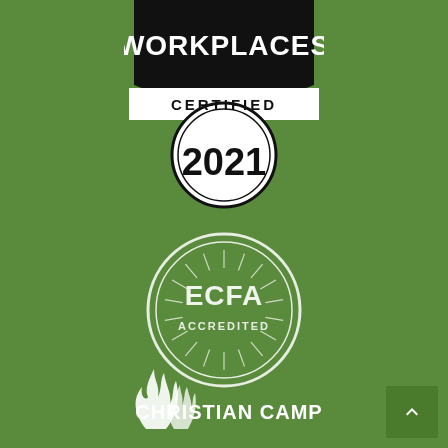[Figure (logo): Workplaces Certified 2021 badge - black banner with 'WORKPLACES' text, white stripe with 'CERTIFIED', circular seal with '2021']
[Figure (logo): ECFA Accredited circular seal logo in white/light green on green background]
[Figure (logo): Christian Camp logo with flame icon and 'CHRISTIAN CAMP' text in white at bottom of page]
[Figure (other): Scroll to top button - darker green square with upward chevron arrow in bottom right corner]